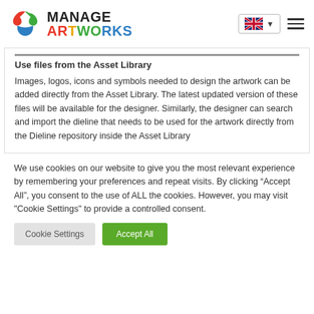Manage Artworks logo with language selector and hamburger menu
Use files from the Asset Library
Images, logos, icons and symbols needed to design the artwork can be added directly from the Asset Library. The latest updated version of these files will be available for the designer. Similarly, the designer can search and import the dieline that needs to be used for the artwork directly from the Dieline repository inside the Asset Library
We use cookies on our website to give you the most relevant experience by remembering your preferences and repeat visits. By clicking “Accept All”, you consent to the use of ALL the cookies. However, you may visit "Cookie Settings" to provide a controlled consent.